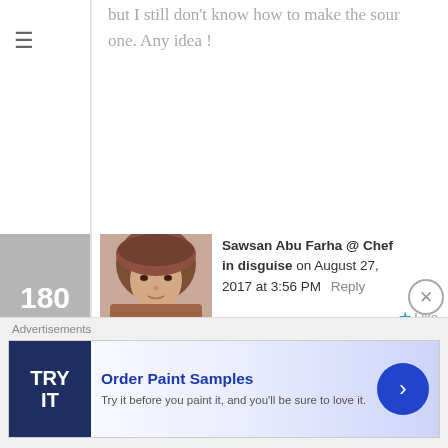but I still don't know how to make the sour one. Any idea !
180
[Figure (photo): Profile photo of Sawsan Abu Farha, a woman wearing a hijab]
Sawsan Abu Farha @ Chef in disguise on August 27, 2017 at 3:56 PM    Reply    ★ Like
Hello Mohamad
terribly sorry for the delay, the trick to making sour labneh is to use sour yogurt.
Buy yogurt with a live culture and give it a few days up to a week in the fridge or leave it outside (if the weather in your country allows that) for 8 hours up to a day then
Advertisements
Order Paint Samples
Try it before you paint it, and you'll be sure to love it.